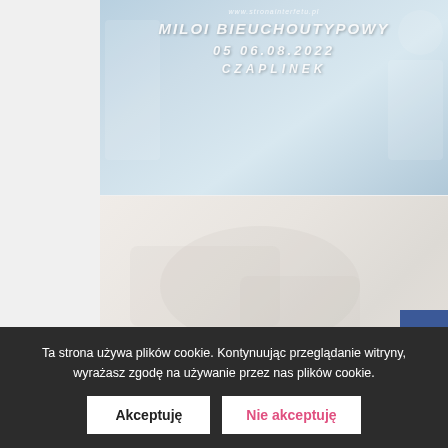[Figure (illustration): Light blue banner image with white italic bold text reading event/festival info: 'www.stronainterfetu.pl', 'miloi bieuchoutypowy', '05 06.08.2022', 'CZAPLINEK'. Faded decorative graphics of shoes/skates on sides.]
[Figure (photo): Second image below, light cream/beige tone, faded graphic content, partially visible.]
facebook
Ta strona używa plików cookie. Kontynuując przeglądanie witryny, wyrażasz zgodę na używanie przez nas plików cookie.
Akceptuję
Nie akceptuję